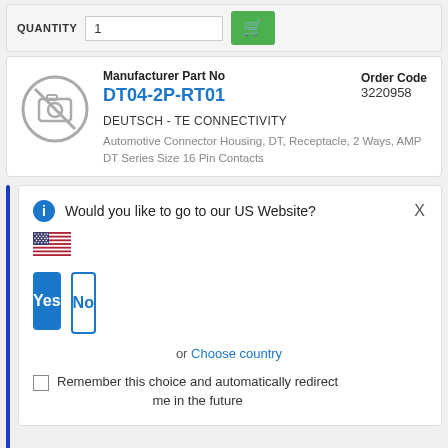QUANTITY  1
Manufacturer Part No
DT04-2P-RT01
Order Code 3220958
DEUTSCH - TE CONNECTIVITY
Automotive Connector Housing, DT, Receptacle, 2 Ways, AMP DT Series Size 16 Pin Contacts
Would you like to go to our US Website?
Yes
No
or  Choose country
Remember this choice and automatically redirect me in the future